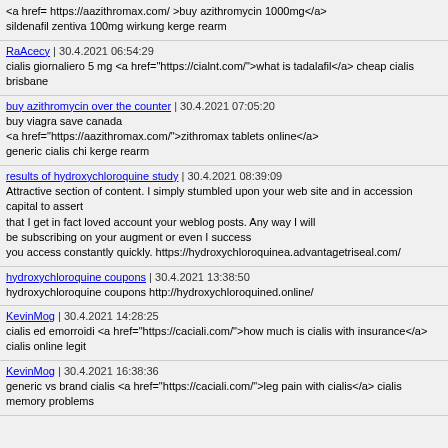<a href="https://aazithromax.com/">buy azithromycin 1000mg</a>
sildenafil zentiva 100mg wirkung kerge rearm
RaAcecy | 30.4.2021 06:54:29
cialis giornaliero 5 mg <a href="https://cialnt.com/">what is tadalafil</a> cheap cialis brisbane
buy azithromycin over the counter | 30.4.2021 07:05:20
buy viagra save canada
<a href="https://aazithromax.com/">zithromax tablets online</a>
generic cialis chi kerge rearm
results of hydroxychloroquine study | 30.4.2021 08:39:09
Attractive section of content. I simply stumbled upon your web site and in accession capital to assert
that I get in fact loved account your weblog posts. Any way I will
be subscribing on your augment or even I success
you access constantly quickly. https://hydroxychloroquinea.advantagetriseal.com/
hydroxychloroquine coupons | 30.4.2021 13:38:50
hydroxychloroquine coupons http://hydroxychloroquined.online/
KevinMog | 30.4.2021 14:28:25
cialis ed emorroidi <a href="https://caciali.com/">how much is cialis with insurance</a> cialis online legit
KevinMog | 30.4.2021 16:38:36
generic vs brand cialis <a href="https://caciali.com/">leg pain with cialis</a> cialis memory problems